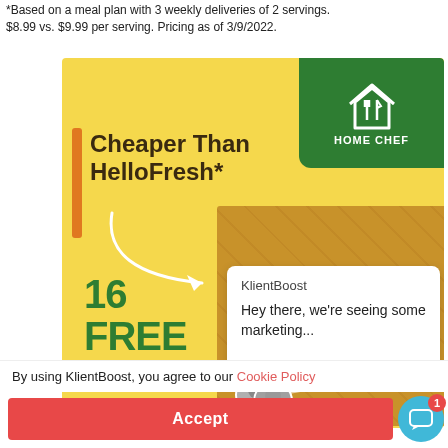*Based on a meal plan with 3 weekly deliveries of 2 servings. $8.99 vs. $9.99 per serving. Pricing as of 3/9/2022.
[Figure (screenshot): Home Chef advertisement showing 'Cheaper Than HelloFresh*' with '16 FREE MEALS' offer on a yellow background with a delivery box, plus a KlientBoost chat widget overlay]
By using KlientBoost, you agree to our Cookie Policy
Accept